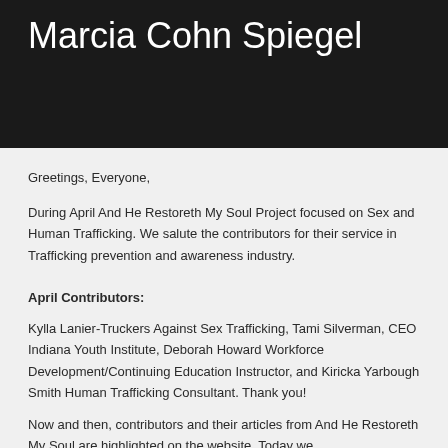Marcia Cohn Spiegel
Greetings, Everyone,
During April And He Restoreth My Soul Project focused on Sex and Human Trafficking. We salute the contributors for their service in Trafficking prevention and awareness industry.
April Contributors:
Kylla Lanier-Truckers Against Sex Trafficking, Tami Silverman, CEO Indiana Youth Institute, Deborah Howard Workforce Development/Continuing Education Instructor, and Kiricka Yarbough Smith Human Trafficking Consultant. Thank you!
Now and then, contributors and their articles from And He Restoreth My Soul are highlighted on the website. Today we